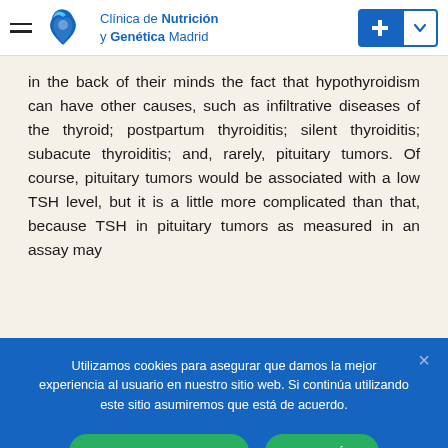[Figure (logo): Clínica de Nutrición y Genética Madrid logo with heart/leaf icon]
in the back of their minds the fact that hypothyroidism can have other causes, such as infiltrative diseases of the thyroid; postpartum thyroiditis; silent thyroiditis; subacute thyroiditis; and, rarely, pituitary tumors. Of course, pituitary tumors would be associated with a low TSH level, but it is a little more complicated than that, because TSH in pituitary tumors as measured in an assay may
Utilizamos cookies para asegurar que damos la mejor experiencia al usuario en nuestro sitio web. Si continúa utilizando este sitio asumiremos que está de acuerdo.
ESTOY DE ACUERDO
LEER MÁS